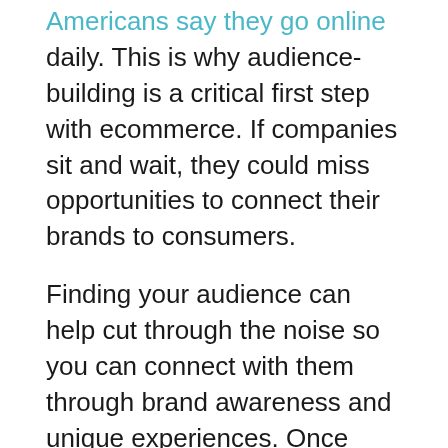Americans say they go online daily. This is why audience-building is a critical first step with ecommerce. If companies sit and wait, they could miss opportunities to connect their brands to consumers.
Finding your audience can help cut through the noise so you can connect with them through brand awareness and unique experiences. Once you've tapped into who is buying your goods, the more opportunities present themselves. For example, you can start exploring personalization or create a loyalty program that resonates deeply. Or you can even strengthen your customer relationship by investing in social causes or programs that matter most to them.